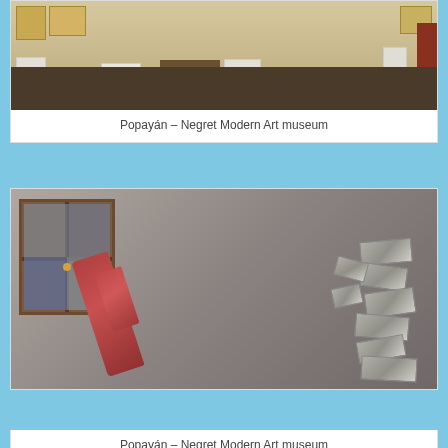[Figure (photo): Interior of Popayán Negret Modern Art museum showing display room with white pedestals, sculptures, artwork on walls, globe, desk, and dark wood floor]
Popayán – Negret Modern Art museum
[Figure (photo): Close-up of modern sculptural artwork at Popayán Negret Modern Art museum — a red angular metal piece and a gray geometric assemblage of box-like forms, with a window and blurred interior in the background]
Popayán – Negret Modern Art museum